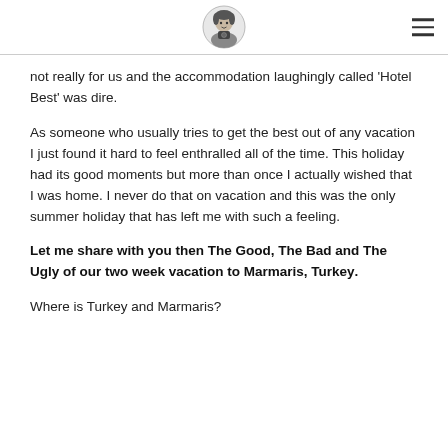[logo and navigation menu]
not really for us and the accommodation laughingly called 'Hotel Best' was dire.
As someone who usually tries to get the best out of any vacation I just found it hard to feel enthralled all of the time. This holiday had its good moments but more than once I actually wished that I was home. I never do that on vacation and this was the only summer holiday that has left me with such a feeling.
Let me share with you then The Good, The Bad and The Ugly of our two week vacation to Marmaris, Turkey.
Where is Turkey and Marmaris?